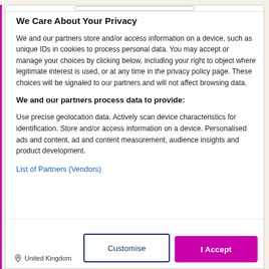We Care About Your Privacy
We and our partners store and/or access information on a device, such as unique IDs in cookies to process personal data. You may accept or manage your choices by clicking below, including your right to object where legitimate interest is used, or at any time in the privacy policy page. These choices will be signaled to our partners and will not affect browsing data.
We and our partners process data to provide:
Use precise geolocation data. Actively scan device characteristics for identification. Store and/or access information on a device. Personalised ads and content, ad and content measurement, audience insights and product development.
List of Partners (Vendors)
United Kingdom
Customise
I Accept